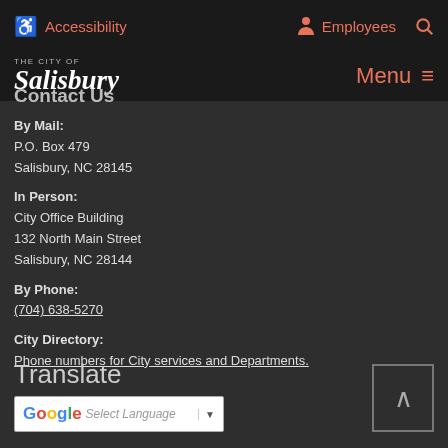Accessibility  Employees
The City of Salisbury  Menu
Contact Us
By Mail:
P.O. Box 479
Salisbury, NC 28145
In Person:
City Office Building
132 North Main Street
Salisbury, NC 28144
By Phone:
(704) 638-5270
City Directory:
Phone numbers for City services and Departments.
Translate
Select Language